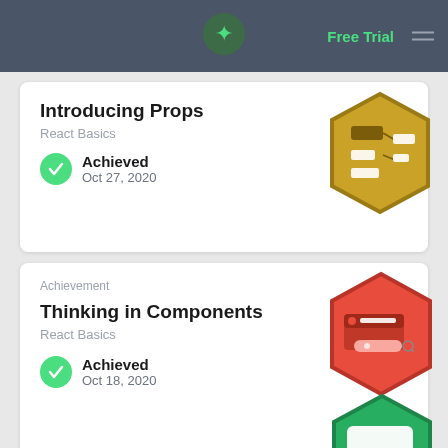Free Trial
Introducing Props
React Basics
Achieved
Oct 27, 2020
[Figure (illustration): Yellow hexagon badge with props/component icons]
Achievement
Thinking in Components
React Basics
Achieved
Oct 18, 2020
[Figure (illustration): Red hexagon badge with component/search icons]
Achievement
First Steps in React
React Basics
[Figure (illustration): Green hexagon badge with render() code icon]